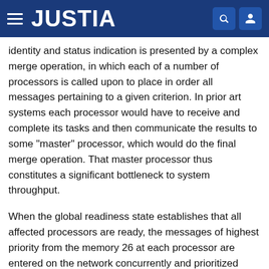JUSTIA
identity and status indication is presented by a complex merge operation, in which each of a number of processors is called upon to place in order all messages pertaining to a given criterion. In prior art systems each processor would have to receive and complete its tasks and then communicate the results to some "master" processor, which would do the final merge operation. That master processor thus constitutes a significant bottleneck to system throughput.
When the global readiness state establishes that all affected processors are ready, the messages of highest priority from the memory 26 at each processor are entered on the network concurrently and prioritized during merger as previously described. Successive retries with groups of messages generate a serial train of messages of descending priority, ending with the